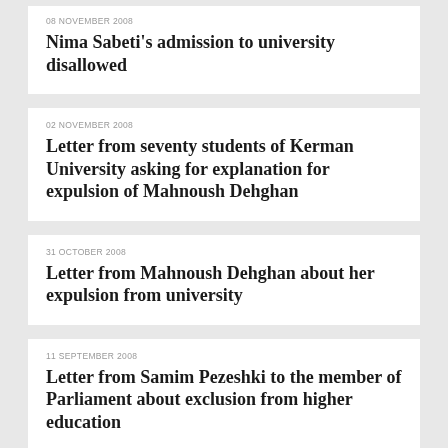08 NOVEMBER 2008
Nima Sabeti's admission to university disallowed
02 NOVEMBER 2008
Letter from seventy students of Kerman University asking for explanation for expulsion of Mahnoush Dehghan
31 OCTOBER 2008
Letter from Mahnoush Dehghan about her expulsion from university
11 SEPTEMBER 2008
Letter from Samim Pezeshki to the member of Parliament about exclusion from higher education